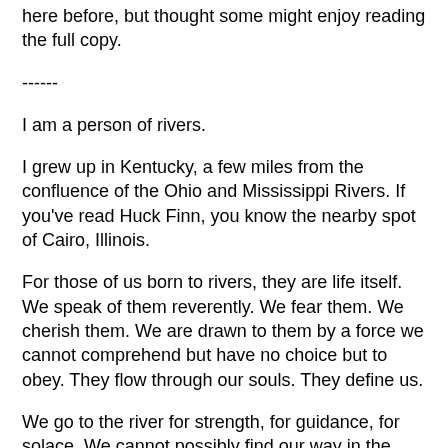here before, but thought some might enjoy reading the full copy.
------
I am a person of rivers.
I grew up in Kentucky, a few miles from the confluence of the Ohio and Mississippi Rivers. If you've read Huck Finn, you know the nearby spot of Cairo, Illinois.
For those of us born to rivers, they are life itself. We speak of them reverently. We fear them. We cherish them. We are drawn to them by a force we cannot comprehend but have no choice but to obey. They flow through our souls. They define us.
We go to the river for strength, for guidance, for solace. We cannot possibly find our way in the world without returning to the river periodically. It beckons to us. We cannot deny its call. We learn at a young age that there's no point in even trying. Not that we want to anyway. The river knows when we